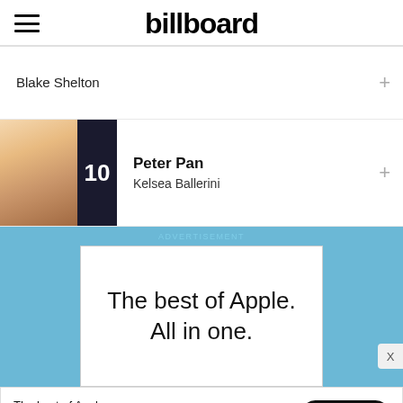billboard
Blake Shelton
10 Peter Pan
Kelsea Ballerini
ADVERTISEMENT
[Figure (infographic): Apple advertisement with white box on blue background reading: The best of Apple. All in one.]
The best of Apple. All in one. Learn more